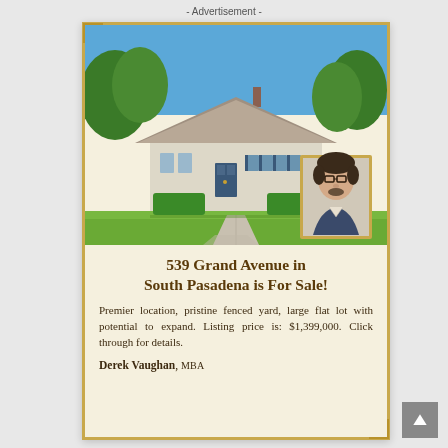- Advertisement -
[Figure (photo): Exterior photo of a single-story ranch house with gray roof, blue front door, neatly trimmed hedges, green lawn, and a concrete walkway leading to the entrance. Blue sky with trees visible in background. A portrait photo of a man with glasses and a beard wearing a blazer is overlaid in the lower-right corner.]
539 Grand Avenue in South Pasadena is For Sale!
Premier location, pristine fenced yard, large flat lot with potential to expand. Listing price is: $1,399,000. Click through for details.
Derek Vaughan, MBA